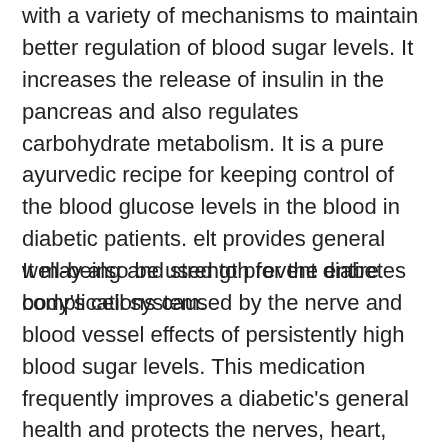with a variety of mechanisms to maintain better regulation of blood sugar levels. It increases the release of insulin in the pancreas and also regulates carbohydrate metabolism. It is a pure ayurvedic recipe for keeping control of the blood glucose levels in the blood in diabetic patients. elt provides general well-being and strength for the entire body's cell system.
It may also be used to prevent diabetes complications caused by the nerve and blood vessel effects of persistently high blood sugar levels. This medication frequently improves a diabetic's general health and protects the nerves, heart, eyes, blood vessels and kidneys. This also increase the productivity of organs in their functions and helps them to live a long healthy